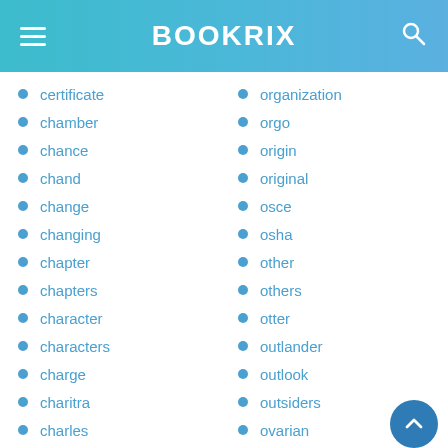BOOKRIX
certificate
chamber
chance
chand
change
changing
chapter
chapters
character
characters
charge
charitra
charles
organization
orgo
origin
original
osce
osha
other
others
otter
outlander
outlook
outsiders
ovarian